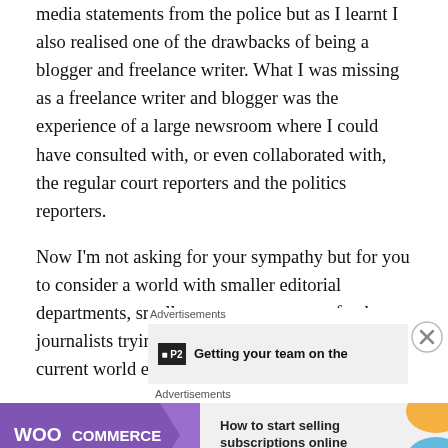media statements from the police but as I learnt I also realised one of the drawbacks of being a blogger and freelance writer. What I was missing as a freelance writer and blogger was the experience of a large newsroom where I could have consulted with, or even collaborated with, the regular court reporters and the politics reporters.
Now I'm not asking for your sympathy but for you to consider a world with smaller editorial departments, smaller news rooms, more freelance journalists trying to tell larger stories. In the current world experience is too often dissipated rather than concentrated.
Advertisements
[Figure (other): Advertisement banner for P2 with text 'Getting your team on the']
Advertisements
[Figure (other): WooCommerce advertisement banner with text 'How to start selling subscriptions online']